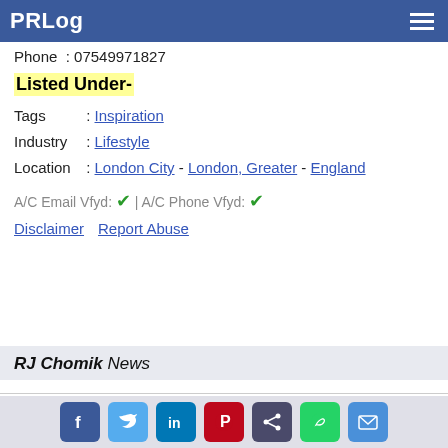PRLog
Phone  : 07549971827
Listed Under-
Tags       : Inspiration
Industry : Lifestyle
Location : London City - London, Greater - England
A/C Email Vfyd: ✔ | A/C Phone Vfyd: ✔
Disclaimer   Report Abuse
RJ Chomik News
#237 "I don't have time" – the sickness of our times